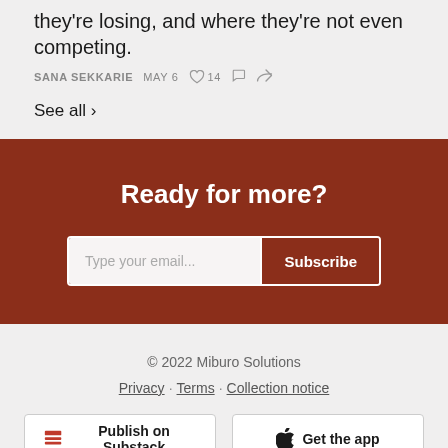they're losing, and where they're not even competing.
SANA SEKKARIE  MAY 6  ♥ 14  💬  ↗
See all ›
Ready for more?
Type your email... Subscribe
© 2022 Miburo Solutions
Privacy · Terms · Collection notice
Publish on Substack  Get the app